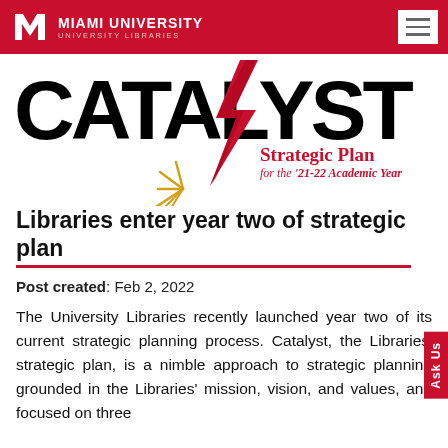Miami University University Libraries
[Figure (logo): CATALYST strategic plan logo with lightning bolt graphic and text 'Strategic Plan for the '21-22 Academic Year']
Libraries enter year two of strategic plan
Post created: Feb 2, 2022
The University Libraries recently launched year two of its current strategic planning process. Catalyst, the Libraries' strategic plan, is a nimble approach to strategic planning grounded in the Libraries' mission, vision, and values, and focused on three